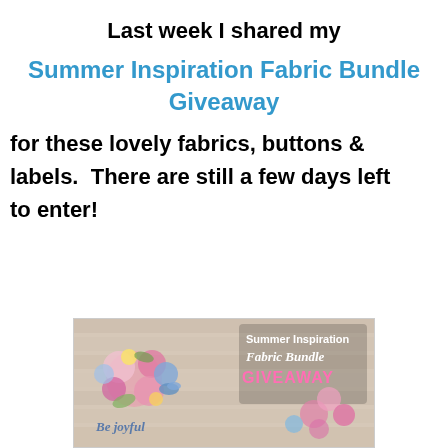Last week I shared my
Summer Inspiration Fabric Bundle Giveaway
for these lovely fabrics, buttons & labels.  There are still a few days left to enter!
[Figure (photo): Photo of a floral fabric bundle giveaway display with colorful flowers and birds on a white wooden background. Text overlay reads 'Be joyful' on the left and 'Summer Inspiration Fabric Bundle GIVEAWAY' on the right.]